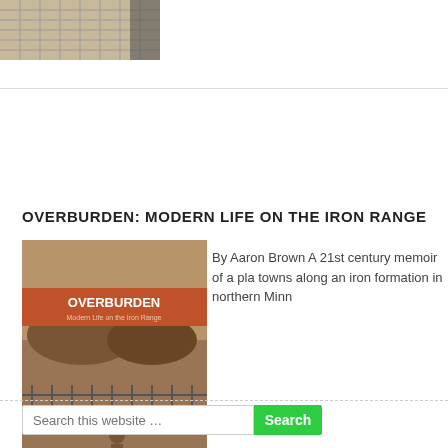[Figure (photo): A partial photo of what appears to be a rooftop or balcony with a metal grid/grating surface and a dark wall in the background.]
OVERBURDEN: MODERN LIFE ON THE IRON RANGE
[Figure (photo): Book cover for 'Overburden: Modern Life on the Iron Range' by Aaron Brown. Sepia-toned photo of a child walking near a fence with an open pit mine landscape. Orange/brown banner at top with white text title.]
By Aaron Brown A 21st century memoir of a pla towns along an iron formation in northern Minn